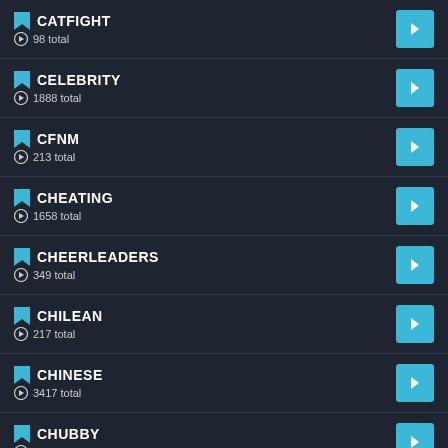CATFIGHT — 98 total
CELEBRITY — 1888 total
CFNM — 213 total
CHEATING — 1658 total
CHEERLEADERS — 349 total
CHILEAN — 217 total
CHINESE — 3417 total
CHUBBY — 1512 total